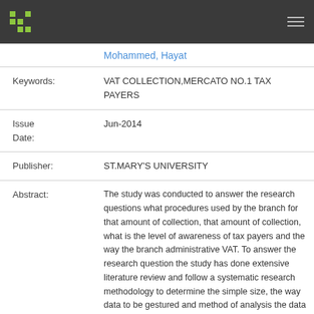DSpace header with logo and navigation
Mohammed, Hayat
| Field | Value |
| --- | --- |
| Keywords: | VAT COLLECTION,MERCATO NO.1 TAX PAYERS |
| Issue Date: | Jun-2014 |
| Publisher: | ST.MARY'S UNIVERSITY |
| Abstract: | The study was conducted to answer the research questions what procedures used by the branch for that amount of collection, that amount of collection, what is the level of awareness of tax payers and the way the branch administrative VAT. To answer the research question the study has done extensive literature review and follow a systematic research methodology to determine the simple size, the way data to be gestured and method of analysis the data obtained from survey. Finally the research concludes that Majority of the |